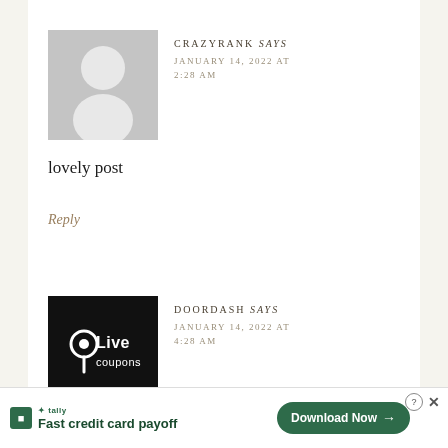[Figure (illustration): Gray default user avatar placeholder for CRAZYRANK comment]
CRAZYRANK says
JANUARY 14, 2022 AT 2:28 AM
lovely post
Reply
[Figure (logo): DoorDash / Live Coupons logo black square with pin icon and Live Coupons text in white]
DOORDASH says
JANUARY 14, 2022 AT 4:28 AM
Fast credit card payoff